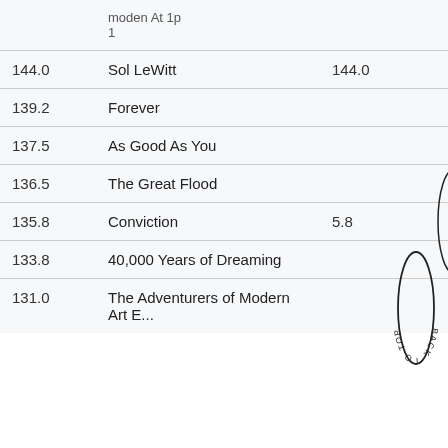| Score | Title | Value |
| --- | --- | --- |
|  | moden At 1p
1 |  |
| 144.0 | Sol LeWitt | 144.0 |
| 139.2 | Forever |  |
| 137.5 | As Good As You |  |
| 136.5 | The Great Flood |  |
| 135.8 | Conviction | 5.8 |
| 133.8 | 40,000 Years of Dreaming |  |
| 131.0 | The Adventurers of Modern Art E... |  |